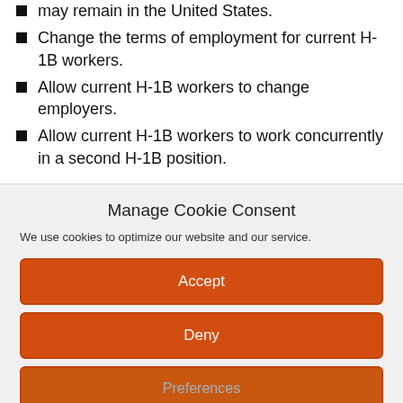may remain in the United States.
Change the terms of employment for current H-1B workers.
Allow current H-1B workers to change employers.
Allow current H-1B workers to work concurrently in a second H-1B position.
Manage Cookie Consent
We use cookies to optimize our website and our service.
Accept
Deny
Preferences